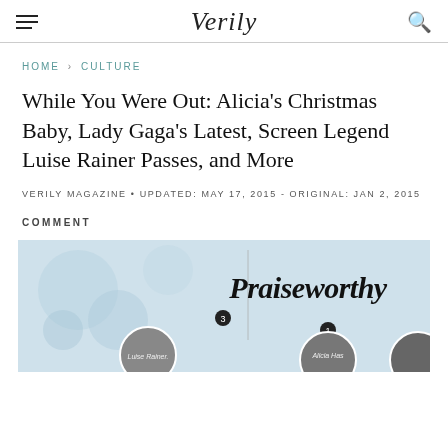Verily
HOME › CULTURE
While You Were Out: Alicia's Christmas Baby, Lady Gaga's Latest, Screen Legend Luise Rainer Passes, and More
VERILY MAGAZINE • UPDATED: MAY 17, 2015 - ORIGINAL: JAN 2, 2015
COMMENT
[Figure (illustration): Praiseworthy section image with circular photo thumbnails of Luise Rainer and Alicia, with decorative snowflake background]